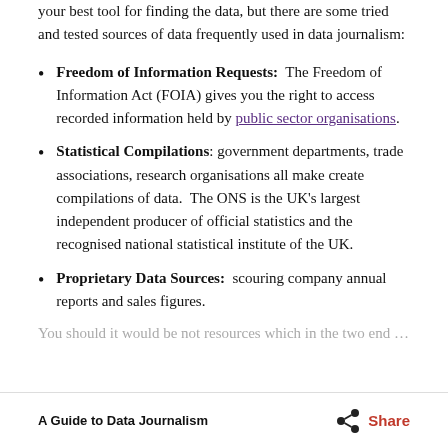your best tool for finding the data, but there are some tried and tested sources of data frequently used in data journalism:
Freedom of Information Requests: The Freedom of Information Act (FOIA) gives you the right to access recorded information held by public sector organisations.
Statistical Compilations: government departments, trade associations, research organisations all make create compilations of data. The ONS is the UK's largest independent producer of official statistics and the recognised national statistical institute of the UK.
Proprietary Data Sources: scouring company annual reports and sales figures.
A Guide to Data Journalism